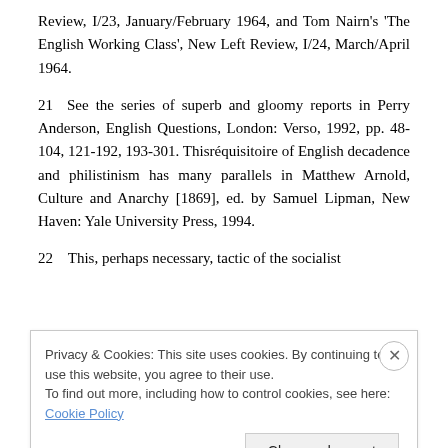Review, I/23, January/February 1964, and Tom Nairn's 'The English Working Class', New Left Review, I/24, March/April 1964.
21  See the series of superb and gloomy reports in Perry Anderson, English Questions, London: Verso, 1992, pp. 48-104, 121-192, 193-301. This réquisitoire of English decadence and philistinism has many parallels in Matthew Arnold, Culture and Anarchy [1869], ed. by Samuel Lipman, New Haven: Yale University Press, 1994.
22  This, perhaps necessary, tactic of the socialist
Privacy & Cookies: This site uses cookies. By continuing to use this website, you agree to their use.
To find out more, including how to control cookies, see here: Cookie Policy